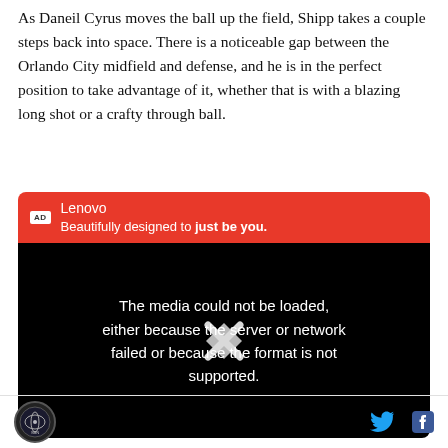As Daneil Cyrus moves the ball up the field, Shipp takes a couple steps back into space. There is a noticeable gap between the Orlando City midfield and defense, and he is in the perfect position to take advantage of it, whether that is with a blazing long shot or a crafty through ball.
[Figure (screenshot): An advertisement banner for Lenovo with red background showing 'AD' badge, 'Lenovo' brand name, and tagline 'Beautifully designed to just be you.' followed by a black video player area showing error message 'The media could not be loaded, either because the server or network failed or because the format is not supported.' with a play/stop icon overlay.]
SBNation logo | Twitter bird icon | Facebook f icon